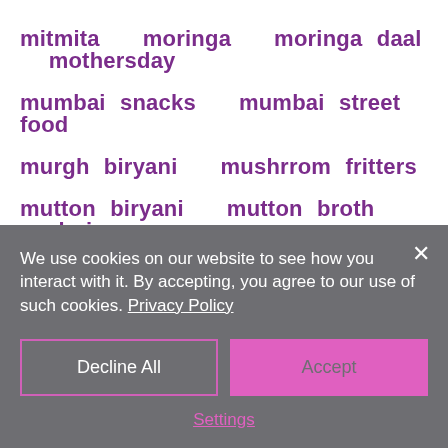mitmita   moringa   moringa daal   mothersday
mumbai snacks   mumbai street food
murgh biryani   mushrrom fritters
mutton biryani   mutton broth   nachni
navratras food   navratri 2016   navratri2016
neapolitan pizza   nizamskathi   nutritious
nutritious food   nuts   oak barels   oat cookies
oats   oats and   oats cake   oats chocolate cake
oats chocolatechip cookies   oats flour   offering
We use cookies on our website to see how you interact with it. By accepting, you agree to our use of such cookies. Privacy Policy
Decline All
Accept
Settings